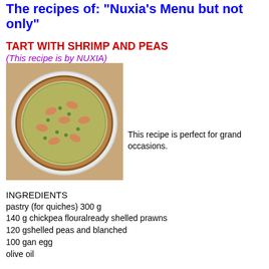The recipes of: "Nuxia's Menu but not only"
TART WITH SHRIMP AND PEAS
(This recipe is by NUXIA)
[Figure (photo): A round tart with shrimp and peas on a white plate, photographed from above on a wooden surface.]
This recipe is perfect for grand occasions.
INGREDIENTS
pastry (for quiches) 300 g
140 g chickpea flouralready shelled prawns
120 gshelled peas and blanched
100 gan egg
olive oil